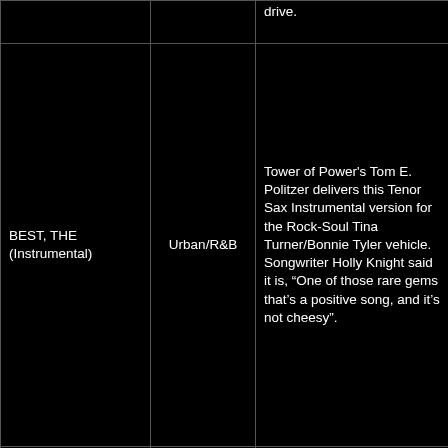drive.
| Title | Genre | Description |
| --- | --- | --- |
| BEST, THE (Instrumental) | Urban/R&B | Tower of Power's Tom E. Politzer delivers this Tenor Sax Instrumental version for the Rock-Soul Tina Turner/Bonnie Tyler vehicle. Songwriter Holly Knight said it is, "One of those rare gems that's a positive song, and it's not cheesy". |
|  |  | Santana Band Vocalist, Tony Lindsay jumps into the Rock-Soul Tina Turner vehicle, originally |